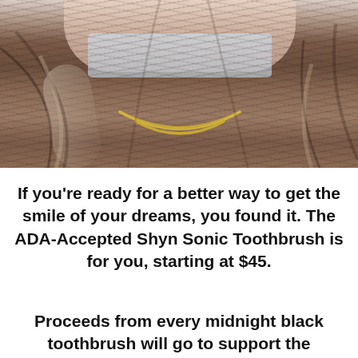[Figure (photo): Photo of a woman with long dark wavy hair with lighter highlights, wearing a face mask and a gold chain necklace, shown from the shoulders up]
If you're ready for a better way to get the smile of your dreams, you found it. The ADA-Accepted Shyn Sonic Toothbrush is for you, starting at $45.
Proceeds from every midnight black toothbrush will go to support the